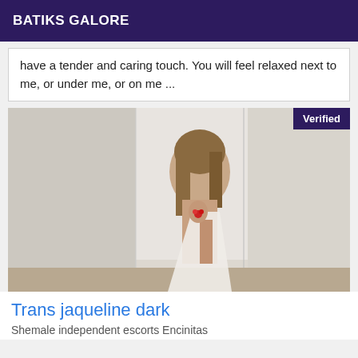BATIKS GALORE
have a tender and caring touch. You will feel relaxed next to me, or under me, or on me ...
[Figure (photo): Photo of a person with a 'Verified' badge overlay in the top right corner]
Trans jaqueline dark
Shemale independent escorts Encinitas